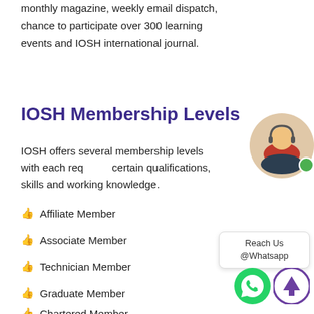monthly magazine, weekly email dispatch, chance to participate over 300 learning events and IOSH international journal.
IOSH Membership Levels
IOSH offers several membership levels with each requiring certain qualifications, skills and working knowledge.
Affiliate Member
Associate Member
Technician Member
Graduate Member
Chartered Member